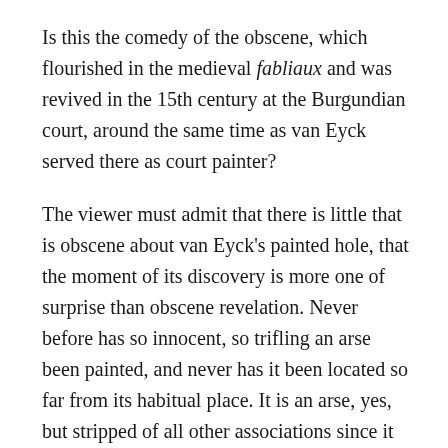Is this the comedy of the obscene, which flourished in the medieval fabliaux and was revived in the 15th century at the Burgundian court, around the same time as van Eyck served there as court painter?
The viewer must admit that there is little that is obscene about van Eyck's painted hole, that the moment of its discovery is more one of surprise than obscene revelation. Never before has so innocent, so trifling an arse been painted, and never has it been located so far from its habitual place. It is an arse, yes, but stripped of all other associations since it is missing the pose that normally accompanies her exposure. This arse is